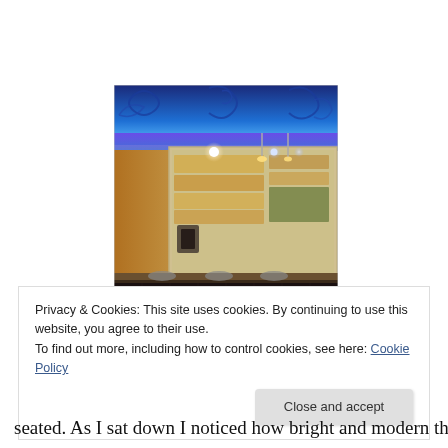[Figure (photo): Interior photo of a restaurant or food stall showing a glass display case with food items, bright spotlights, and a blue neon-lit ceiling with decorative swirl patterns. The counter area has patterned dark tiles and some bowls/dishes visible at the bottom.]
Privacy & Cookies: This site uses cookies. By continuing to use this website, you agree to their use.
To find out more, including how to control cookies, see here: Cookie Policy
Close and accept
seated. As I sat down I noticed how bright and modern the